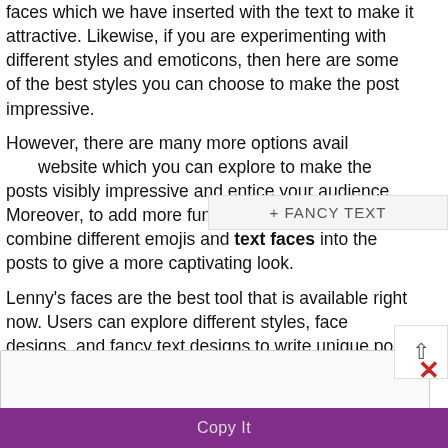faces which we have inserted with the text to make it attractive. Likewise, if you are experimenting with different styles and emoticons, then here are some of the best styles you can choose to make the post impressive.
+ FANCY TEXT
However, there are many more options available on this website which you can explore to make the posts visibly impressive and entice your audience. Moreover, to add more fun elements, you can also combine different emojis and text faces into the posts to give a more captivating look.
Lenny's faces are the best tool that is available right now. Users can explore different styles, face designs, and fancy text designs to write unique posts to share on social media platforms. This online software offers a unique face for every emotion, and you can limitlessly explore symbols and des
Copy It